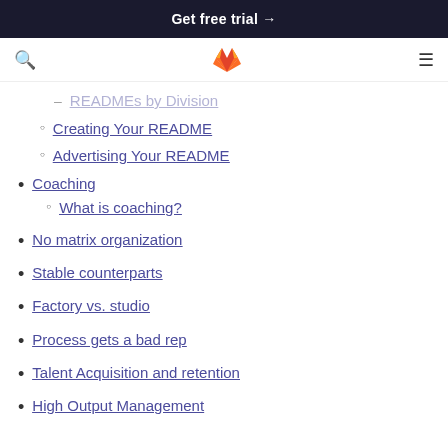Get free trial →
READMEs by Division (partial/cut off)
Creating Your README
Advertising Your README
Coaching
What is coaching?
No matrix organization
Stable counterparts
Factory vs. studio
Process gets a bad rep
Talent Acquisition and retention
High Output Management